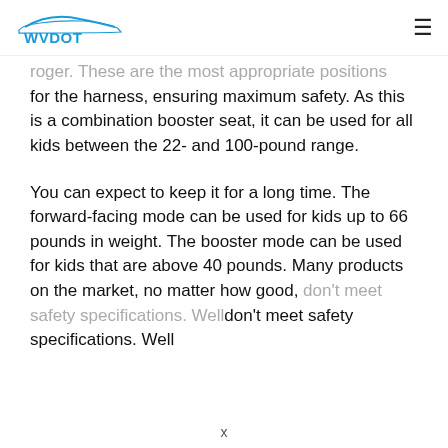WVDOT
roger. These are the most appropriate positions for the harness, ensuring maximum safety. As this is a combination booster seat, it can be used for all kids between the 22- and 100-pound range.
You can expect to keep it for a long time. The forward-facing mode can be used for kids up to 66 pounds in weight. The booster mode can be used for kids that are above 40 pounds. Many products on the market, no matter how good, don't meet safety specifications. Well